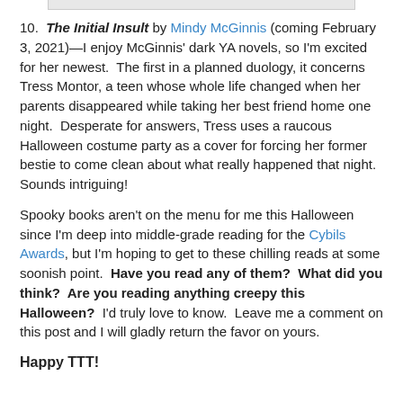[Figure (photo): Partial image at top of page, cropped book cover thumbnail]
10.  The Initial Insult by Mindy McGinnis (coming February 3, 2021)—I enjoy McGinnis' dark YA novels, so I'm excited for her newest.  The first in a planned duology, it concerns Tress Montor, a teen whose whole life changed when her parents disappeared while taking her best friend home one night.  Desperate for answers, Tress uses a raucous Halloween costume party as a cover for forcing her former bestie to come clean about what really happened that night.  Sounds intriguing!
Spooky books aren't on the menu for me this Halloween since I'm deep into middle-grade reading for the Cybils Awards, but I'm hoping to get to these chilling reads at some soonish point.  Have you read any of them?  What did you think?  Are you reading anything creepy this Halloween?  I'd truly love to know.  Leave me a comment on this post and I will gladly return the favor on yours.
Happy TTT!